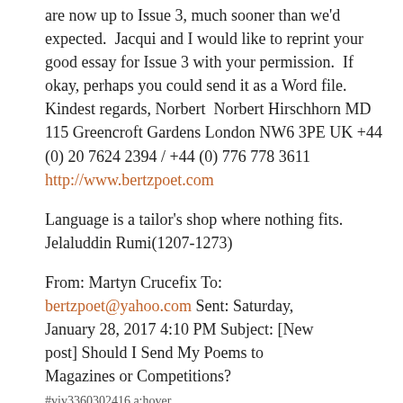are now up to Issue 3, much sooner than we'd expected.  Jacqui and I would like to reprint your good essay for Issue 3 with your permission.  If okay, perhaps you could send it as a Word file. Kindest regards, Norbert  Norbert Hirschhorn MD 115 Greencroft Gardens London NW6 3PE UK +44 (0) 20 7624 2394 / +44 (0) 776 778 3611 http://www.bertzpoet.com
Language is a tailor's shop where nothing fits. Jelaluddin Rumi(1207-1273)
From: Martyn Crucefix To: bertzpoet@yahoo.com Sent: Saturday, January 28, 2017 4:10 PM Subject: [New post] Should I Send My Poems to Magazines or Competitions? #viv3360302416 a:hover.